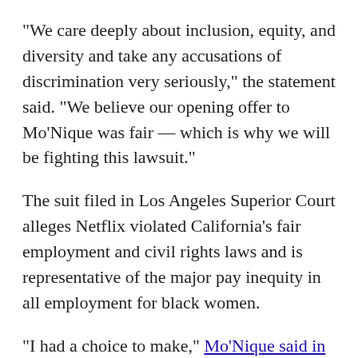"We care deeply about inclusion, equity, and diversity and take any accusations of discrimination very seriously," the statement said. "We believe our opening offer to Mo'Nique was fair — which is why we will be fighting this lawsuit."
The suit filed in Los Angeles Superior Court alleges Netflix violated California's fair employment and civil rights laws and is representative of the major pay inequity in all employment for black women.
"I had a choice to make," Mo'Nique said in a post on her Instagram account after the suit was filed. "I could accept what I felt was pay discrimination or I could stand up for those who came before me and those who